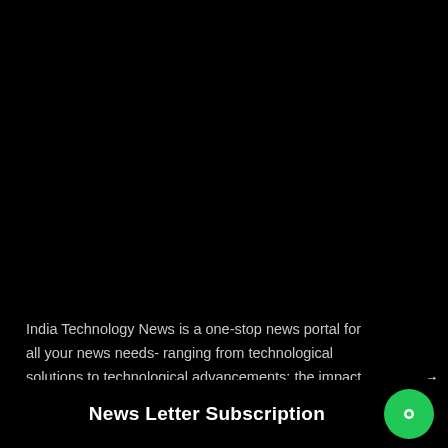[Figure (screenshot): Large black background area occupying the upper portion of the page, likely a video or image placeholder]
[Figure (infographic): LinkedIn and Facebook social media share buttons on the right side. LinkedIn button in blue (#0077b5) with 'in' text, Facebook button in darker blue with 'f' text. Arrow indicator pointing right above the social buttons.]
India Technology News is a one-stop news portal for all your news needs- ranging from technological solutions to technological advancements; the impact of technology.
News Letter Subscription